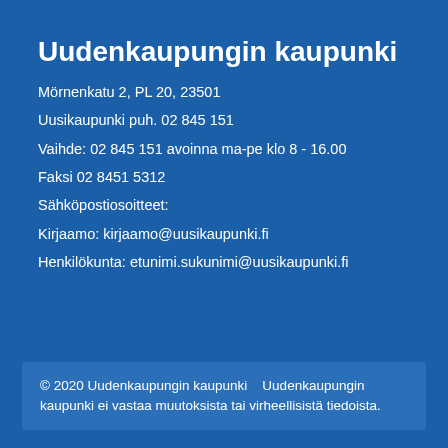Uudenkaupungin kaupunki
Mörnenkatu 2, PL 20, 23501
Uusikaupunki puh. 02 845 151
Vaihde: 02 845 151 avoinna ma-pe klo 8 - 16.00
Faksi 02 8451 5312
Sähköpostiosoitteet:
Kirjaamo: kirjaamo@uusikaupunki.fi
Henkilökunta: etunimi.sukunimi@uusikaupunki.fi
© 2020 Uudenkaupungin kaupunki    Uudenkaupungin kaupunki ei vastaa muutoksista tai virheellisistä tiedoista.